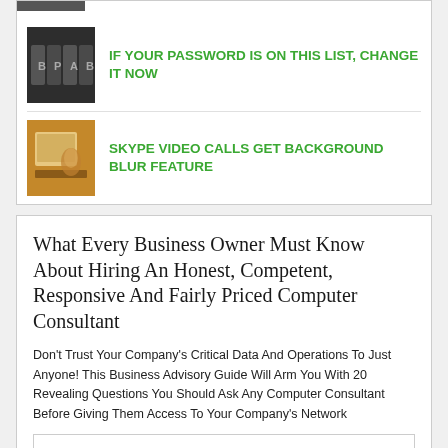[Figure (photo): Thumbnail of combination lock / password-style device with letters, dark background]
IF YOUR PASSWORD IS ON THIS LIST, CHANGE IT NOW
[Figure (photo): Thumbnail of laptop on desk with video call / Skype interface visible]
SKYPE VIDEO CALLS GET BACKGROUND BLUR FEATURE
What Every Business Owner Must Know About Hiring An Honest, Competent, Responsive And Fairly Priced Computer Consultant
Don't Trust Your Company's Critical Data And Operations To Just Anyone! This Business Advisory Guide Will Arm You With 20 Revealing Questions You Should Ask Any Computer Consultant Before Giving Them Access To Your Company's Network
Name *